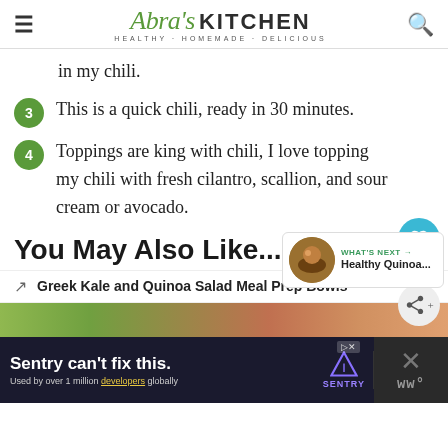Abra's KITCHEN · HEALTHY · HOMEMADE · DELICIOUS
in my chili.
3. This is a quick chili, ready in 30 minutes.
4. Toppings are king with chili, I love topping my chili with fresh cilantro, scallion, and sour cream or avocado.
You May Also Like...
Greek Kale and Quinoa Salad Meal Prep Bowls
[Figure (screenshot): Advertisement banner: Sentry can't fix this. Used by over 1 million developers globally. Sentry logo.]